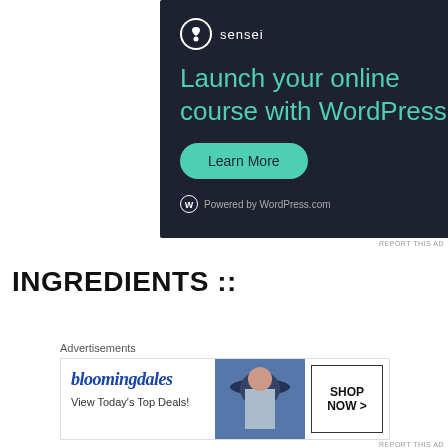[Figure (illustration): Sensei advertisement banner with dark navy background. Shows Sensei logo (tree in circle) and name at top, headline 'Launch your online course with WordPress' in teal/green color, a 'Learn More' button in teal, and 'Powered by WordPress.com' text at bottom.]
REPORT THIS AD
INGREDIENTS ::
[Figure (illustration): Bloomingdales advertisement banner showing the Bloomingdales logo, text 'View Today's Top Deals!', an image of a woman wearing a wide-brimmed hat, and a 'SHOP NOW >' box on the right side.]